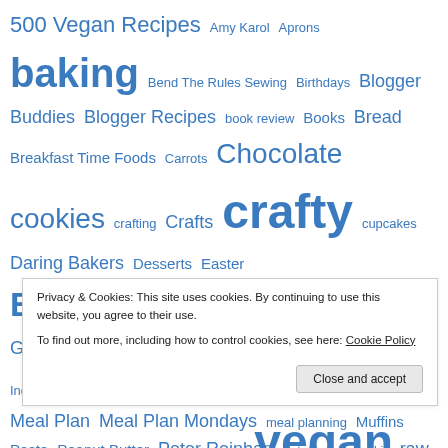[Figure (infographic): Tag cloud with blue hyperlinks of various font sizes representing blog categories and tags, including: 500 Vegan Recipes, Amy Karol, Aprons, baking, Bend The Rules Sewing, Birthdays, Blogger Buddies, Blogger Recipes, book review, Books, Bread, Breakfast Time Foods, Carrots, Chocolate cookies, crafting, Crafts, crafty, cupcakes, Daring Bakers, Desserts, Easter, Embroidery, Featured Wipster, felt, Giveaways, Guppy, handsewing, Hazelnuts, Holidays, Indian Cuisine, knitting, Lent les vendredis francophones, Meal Plan, Meal Plan Mondays, meal planning, Muffins, Pasta, Peanut Butter, Peter Reinhart, potatoes, pumpkin, raw, Raw Bars, Raw Cuisine, recipes, Recipe Tester Extraordinare, sewing, Stitch-Along!]
Privacy & Cookies: This site uses cookies. By continuing to use this website, you agree to their use.
To find out more, including how to control cookies, see here: Cookie Policy
Close and accept
Urban Vegan The One On told tutorials Vegan Vegan baking